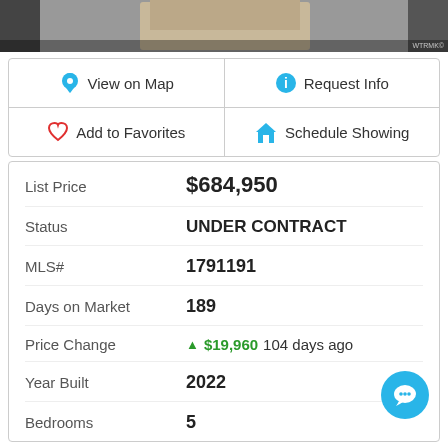[Figure (photo): Top portion of a real estate listing photo showing interior/exterior of home, partially cropped]
| View on Map | Request Info |
| Add to Favorites | Schedule Showing |
List Price   $684,950
Status   UNDER CONTRACT
MLS#   1791191
Days on Market   189
Price Change   ▲ $19,960 104 days ago
Year Built   2022
Bedrooms   5